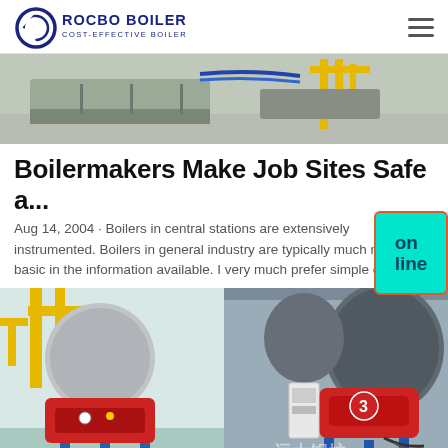ROCBO BOILER — COST-EFFECTIVE BOILER SUPPLIER
[Figure (photo): Top image showing industrial boiler equipment on a factory floor with yellow piping and machinery]
Boilermakers Make Job Sites Safe a...
Aug 14, 2004 · Boilers in central stations are extensively instrumented. Boilers in general industry are typically much more basic in the information available. I very much prefer simple ov...
[Figure (photo): Two side-by-side photos of industrial boilers with red burner units, yellow gas piping, and blue floor supports inside a boiler room]